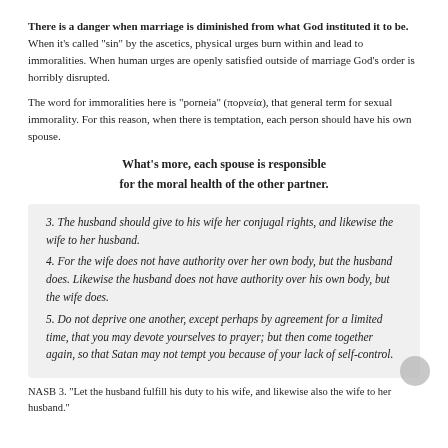There is a danger when marriage is diminished from what God instituted it to be. When it's called “sin” by the ascetics, physical urges burn within and lead to immoralities. When human urges are openly satisfied outside of marriage God’s order is horribly disrupted.
The word for immoralities here is “porneia” (πορνεία), that general term for sexual immorality. For this reason, when there is temptation, each person should have his own spouse.
What’s more, each spouse is responsible for the moral health of the other partner.
3. The husband should give to his wife her conjugal rights, and likewise the wife to her husband.
4. For the wife does not have authority over her own body, but the husband does. Likewise the husband does not have authority over his own body, but the wife does.
5. Do not deprive one another, except perhaps by agreement for a limited time, that you may devote yourselves to prayer; but then come together again, so that Satan may not tempt you because of your lack of self-control.
NASB 3. “Let the husband fulfill his duty to his wife, and likewise also the wife to her husband.”